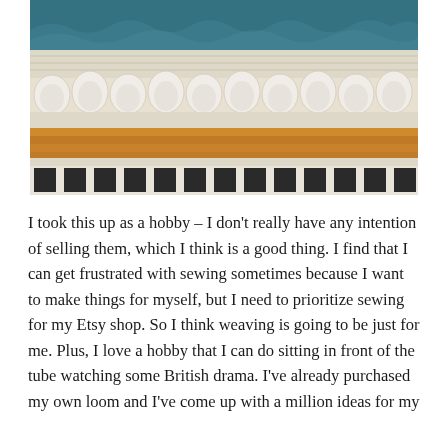[Figure (photo): Close-up photograph of a woven textile showing multiple horizontal bands: teal/blue yarn at the top, cream background with a row of raised white wool pom-poms/bobbles in the middle, a mustard/golden-orange band below, and a black-and-white checkered/dotted pattern at the bottom.]
I took this up as a hobby – I don't really have any intention of selling them, which I think is a good thing. I find that I can get frustrated with sewing sometimes because I want to make things for myself, but I need to prioritize sewing for my Etsy shop. So I think weaving is going to be just for me. Plus, I love a hobby that I can do sitting in front of the tube watching some British drama. I've already purchased my own loom and I've come up with a million ideas for my